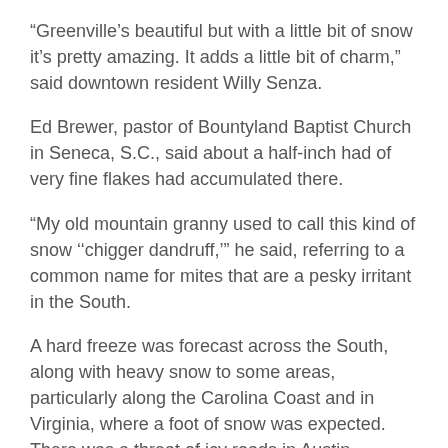“Greenville's beautiful but with a little bit of snow it's pretty amazing. It adds a little bit of charm,” said downtown resident Willy Senza.
Ed Brewer, pastor of Bountyland Baptist Church in Seneca, S.C., said about a half-inch had of very fine flakes had accumulated there.
“My old mountain granny used to call this kind of snow ‘‘chigger dandruff,’” he said, referring to a common name for mites that are a pesky irritant in the South.
A hard freeze was forecast across the South, along with heavy snow to some areas, particularly along the Carolina Coast and in Virginia, where a foot of snow was expected. There was a threat of icy roads in Austin, Charleston, S.C., Pensacola, Fla., Mobile,